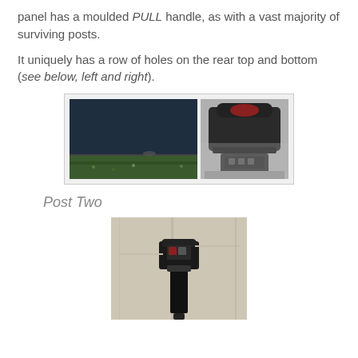panel has a moulded PULL handle, as with a vast majority of surviving posts.
It uniquely has a row of holes on the rear top and bottom (see below, left and right).
[Figure (photo): Two photos side by side: left shows close-up of dark panel bottom with holes and debris; right shows a dark post box unit on a street with red interior visible from top.]
Post Two
[Figure (photo): Tall photo of a black post mounted on a light-coloured wall, showing a small box unit at the top of the post.]